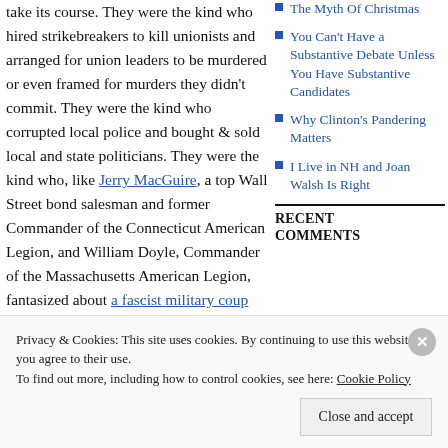take its course. They were the kind who hired strikebreakers to kill unionists and arranged for union leaders to be murdered or even framed for murders they didn’t commit. They were the kind who corrupted local police and bought & sold local and state politicians. They were the kind who, like Jerry MacGuire, a top Wall Street bond salesman and former Commander of the Connecticut American Legion, and William Doyle, Commander of the Massachusetts American Legion, fantasized about a fascist military coup that would remove Roosevelt by force and replace him with a pro-
The Myth Of Christmas
You Can’t Have a Substantive Debate Unless You Have Substantive Candidates
Why Clinton’s Pandering Matters
I Live in NH and Joan Walsh Is Right
RECENT COMMENTS
Privacy & Cookies: This site uses cookies. By continuing to use this website, you agree to their use.
To find out more, including how to control cookies, see here: Cookie Policy
Close and accept